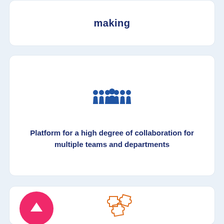making
[Figure (illustration): Group of people icon in dark blue, representing a team or multiple users]
Platform for a high degree of collaboration for multiple teams and departments
[Figure (illustration): Pink/magenta circular button with white upward arrow icon]
[Figure (illustration): Orange puzzle pieces icon]